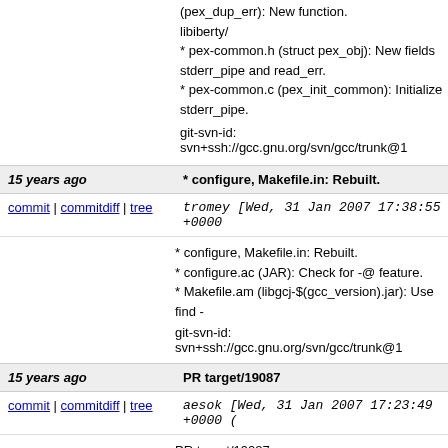(pex_dup_err): New function.
libiberty/
* pex-common.h (struct pex_obj): New fields stderr_pipe and read_err.
* pex-common.c (pex_init_common): Initialize stderr_pipe.
git-svn-id: svn+ssh://gcc.gnu.org/svn/gcc/trunk@1
15 years ago
* configure, Makefile.in: Rebuilt.
commit | commitdiff | tree
tromey [Wed, 31 Jan 2007 17:38:55 +0000
* configure, Makefile.in: Rebuilt.
* configure.ac (JAR): Check for -@ feature.
* Makefile.am (libgcj-$(gcc_version).jar): Use find -
git-svn-id: svn+ssh://gcc.gnu.org/svn/gcc/trunk@1
15 years ago
PR target/19087
commit | commitdiff | tree
aesok [Wed, 31 Jan 2007 17:23:49 +0000 (
PR target/19087
* config/avr/avr.c (DWARF2_ADDR_SIZE): Define.
git-svn-id: svn+ssh://gcc.gnu.org/svn/gcc/trunk@1